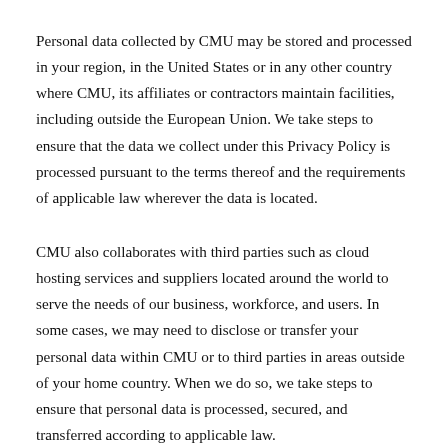Personal data collected by CMU may be stored and processed in your region, in the United States or in any other country where CMU, its affiliates or contractors maintain facilities, including outside the European Union. We take steps to ensure that the data we collect under this Privacy Policy is processed pursuant to the terms thereof and the requirements of applicable law wherever the data is located.
CMU also collaborates with third parties such as cloud hosting services and suppliers located around the world to serve the needs of our business, workforce, and users. In some cases, we may need to disclose or transfer your personal data within CMU or to third parties in areas outside of your home country. When we do so, we take steps to ensure that personal data is processed, secured, and transferred according to applicable law.